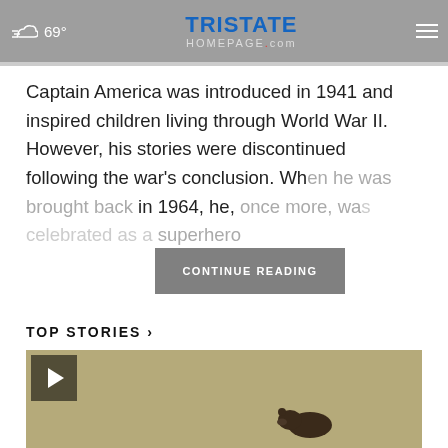69° Tristate Homepage.com
Captain America was introduced in 1941 and inspired children living through World War II. However, his stories were discontinued following the war's conclusion. Wh[en he was brought back] in 1964, he, once more, wa[s celebrated as a] superhero
CONTINUE READING
TOP STORIES ›
[Figure (photo): Video thumbnail showing a dark-colored bear on a tan/olive colored background with a play button in the upper left corner]